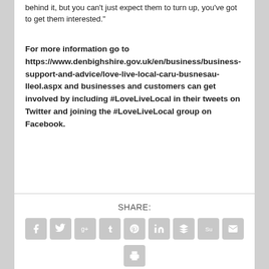behind it, but you can't just expect them to turn up, you've got to get them interested."
For more information go to https://www.denbighshire.gov.uk/en/business/business-support-and-advice/love-live-local-caru-busnesau-lleol.aspx and businesses and customers can get involved by including #LoveLiveLocal in their tweets on Twitter and joining the #LoveLiveLocal group on Facebook.
[Figure (infographic): Social sharing buttons: Facebook, Twitter, Google+, Tumblr, Pinterest, LinkedIn, Buffer, StumbleUpon, Email, Print]